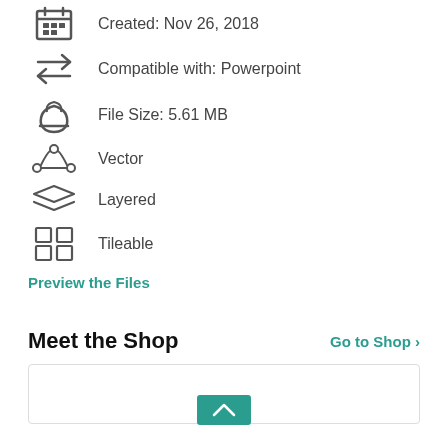Created: Nov 26, 2018
Compatible with: Powerpoint
File Size: 5.61 MB
Vector
Layered
Tileable
Preview the Files
Meet the Shop
Go to Shop >
[Figure (other): Partial shop card with teal button at bottom center]